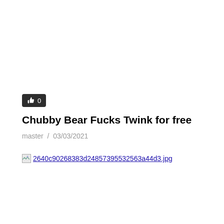[Figure (other): Like/thumbs-up button with count 0, dark background]
Chubby Bear Fucks Twink for free
master  /  03/03/2021
2640c90268383d24857395532563a44d3.jpg (broken image link)